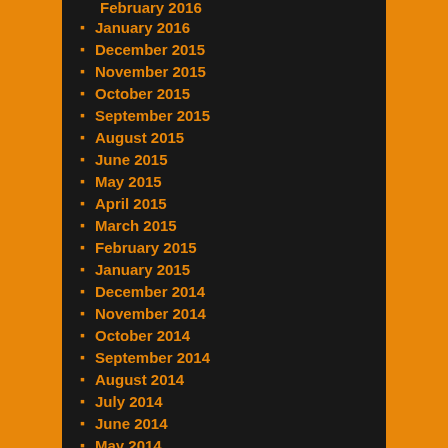February 2016
January 2016
December 2015
November 2015
October 2015
September 2015
August 2015
June 2015
May 2015
April 2015
March 2015
February 2015
January 2015
December 2014
November 2014
October 2014
September 2014
August 2014
July 2014
June 2014
May 2014
April 2014